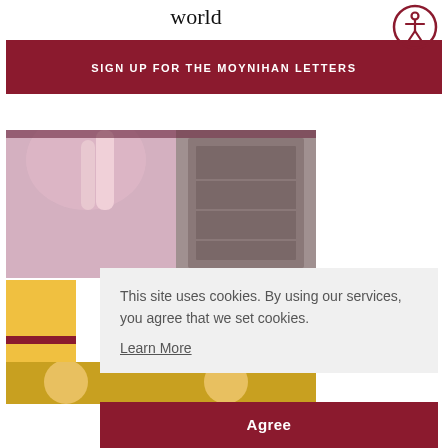world
[Figure (logo): Accessibility icon — circular badge with stylized person figure in dark red outline]
SIGN UP FOR THE MOYNIHAN LETTERS
[Figure (photo): Photograph showing decorative carved relief panels and pink fabric/drape in the background]
This site uses cookies. By using our services, you agree that we set cookies.
Learn More
Agree
[Figure (photo): Partial bottom image strip showing people figures]